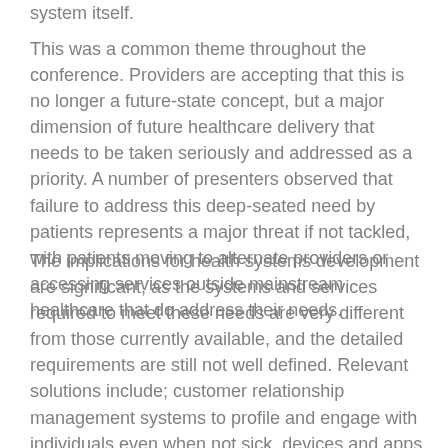system itself.
This was a common theme throughout the conference. Providers are accepting that this is no longer a future-state concept, but a major dimension of future healthcare delivery that needs to be taken seriously and addressed as a priority. A number of presenters observed that failure to address this deep-seated need by patients represents a major threat if not tackled, with patients moving to alternate providers or accessing services outside mainstream healthcare that do address their needs.
The implications for health systems development are significant, as the systems and services required to meet these needs are very different from those currently available, and the detailed requirements are still not well defined. Relevant solutions include; customer relationship management systems to profile and engage with individuals even when not sick, devices and apps to support behavior